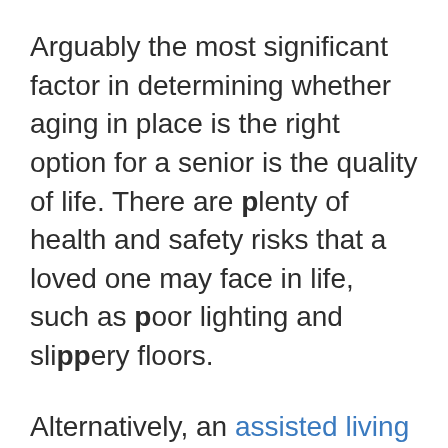Arguably the most significant factor in determining whether aging in place is the right option for a senior is the quality of life. There are plenty of health and safety risks that a loved one may face in life, such as poor lighting and slippery floors.
Alternatively, an assisted living community or nursing home can give seniors the social support that they need, along with regular access to nutritious meals, caregivers, and